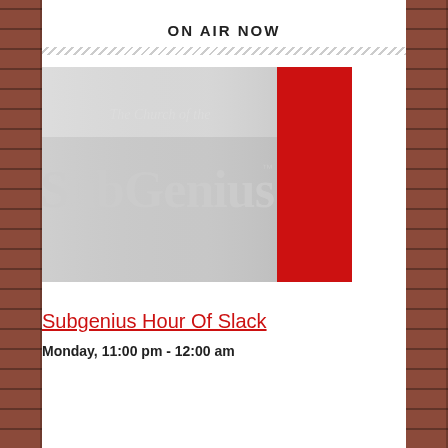ON AIR NOW
[Figure (illustration): Logo of The Church of the SubGenius: gothic-style lettering on a gray background with a red vertical stripe on the right side.]
Subgenius Hour Of Slack
Monday, 11:00 pm - 12:00 am